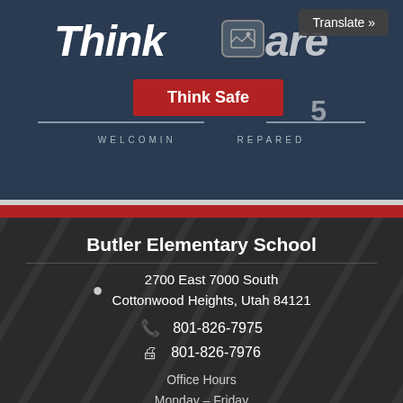[Figure (screenshot): Top banner with ThinkCentral/ThinkSafe school website header. Shows italic bold 'Think' logo text with an image icon, a 'Translate »' button overlay, a red 'Think Safe' button, horizontal divider lines, and 'WELCOMING ... REPARED' text in small caps on a dark navy background.]
Butler Elementary School
2700 East 7000 South
Cottonwood Heights, Utah 84121
801-826-7975
801-826-7976
Office Hours
Monday – Friday
8 a.m. – 3:30 p.m.